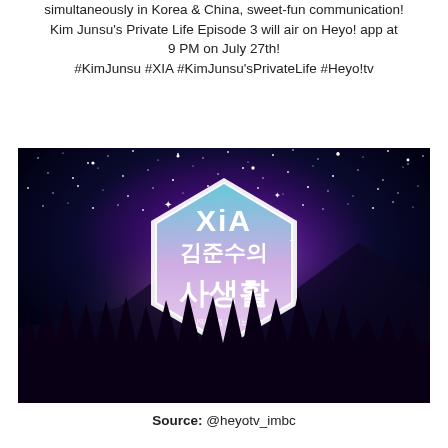simultaneously in Korea & China, sweet-fun communication!
Kim Junsu's Private Life Episode 3 will air on Heyo! app at 9 PM on July 27th!
#KimJunsu #XIA #KimJunsu'sPrivateLife #Heyo!tv
[Figure (photo): Show logo for XIA Kim Junsu's Private Life (사생활) against a starry night sky background with silhouetted trees, featuring a hexagonal white logo with Korean and English text]
Source: @heyotv_imbc